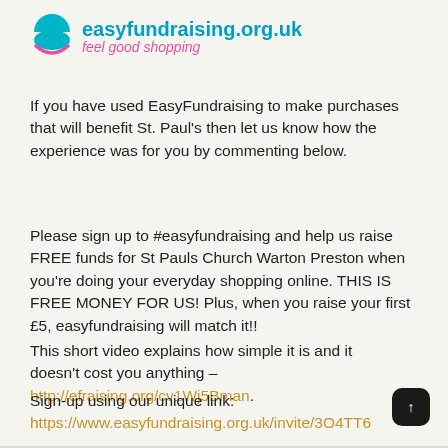[Figure (logo): easyfundraising.org.uk logo with teal/cyan semicircle icon and tagline 'feel good shopping' in pink italic]
If you have used EasyFundraising to make purchases that will benefit St. Paul's then let us know how the experience was for you by commenting below.
Please sign up to #easyfundraising and help us raise FREE funds for St Pauls Church Warton Preston when you're doing your everyday shopping online. THIS IS FREE MONEY FOR US! Plus, when you raise your first £5, easyfundraising will match it!!
This short video explains how simple it is and it doesn't cost you anything – http://efraising.org/cv1Wj5Bman.
Sign-up using our unique link: https://www.easyfundraising.org.uk/invite/3O4TT6